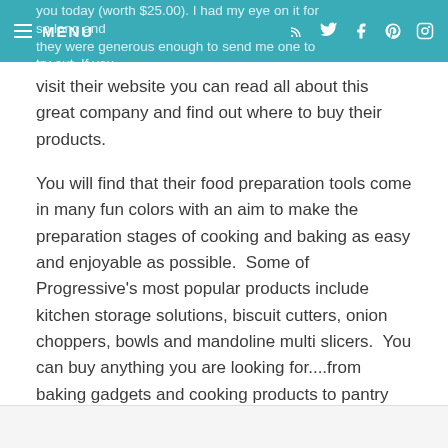MENU | (nav icons: RSS, Twitter, Facebook, Pinterest, Instagram) | you today (worth $25.00). I had my eye on it for so long and they were generous enough to send me one to try out. If you
visit their website you can read all about this great company and find out where to buy their products.
You will find that their food preparation tools come in many fun colors with an aim to make the preparation stages of cooking and baking as easy and enjoyable as possible.  Some of Progressive's most popular products include kitchen storage solutions, biscuit cutters, onion choppers, bowls and mandoline multi slicers.  You can buy anything you are looking for....from baking gadgets and cooking products to pantry solutions, spices, tools and accessories.